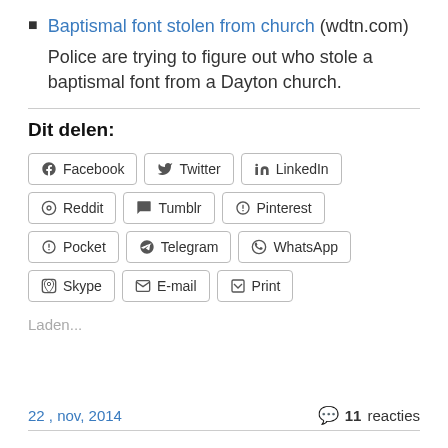Baptismal font stolen from church (wdtn.com) Police are trying to figure out who stole a baptismal font from a Dayton church.
Dit delen:
Facebook Twitter LinkedIn Reddit Tumblr Pinterest Pocket Telegram WhatsApp Skype E-mail Print
Laden...
22 , nov, 2014   11 reacties